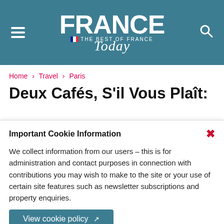[Figure (logo): France Today magazine logo with hamburger menu and search icon on teal/blue-green header background]
Home > Travel > Paris
Deux Cafés, S'il Vous Plaît:
Important Cookie Information
We collect information from our users – this is for administration and contact purposes in connection with contributions you may wish to make to the site or your use of certain site features such as newsletter subscriptions and property enquiries.
View cookie policy